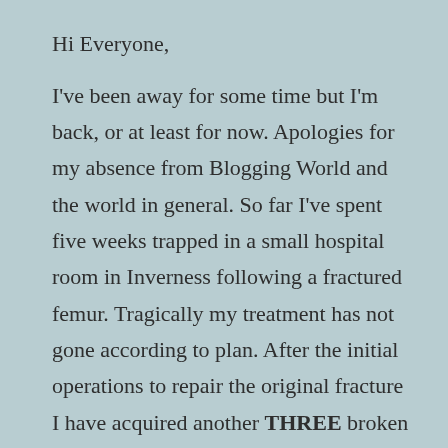Hi Everyone,
I've been away for some time but I'm back, or at least for now. Apologies for my absence from Blogging World and the world in general. So far I've spent five weeks trapped in a small hospital room in Inverness following a fractured femur. Tragically my treatment has not gone according to plan. After the initial operations to repair the original fracture I have acquired another THREE broken bones in my legs due to careless handling and bad advice from Occupational Therapists and Physiotherapists. And the worst news is that the fresh broken bones are not fixable. Any surgery could make things worst not better.  No one seems to know what the prognosis is.